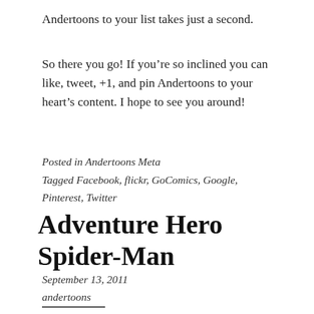Andertoons to your list takes just a second.
So there you go! If you’re so inclined you can like, tweet, +1, and pin Andertoons to your heart’s content. I hope to see you around!
Posted in Andertoons Meta
Tagged Facebook, flickr, GoComics, Google, Pinterest, Twitter
Adventure Hero Spider-Man
September 13, 2011
andertoons